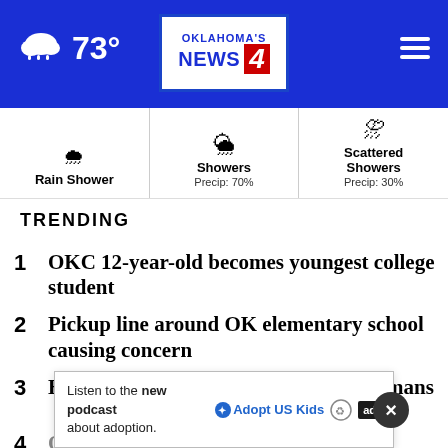73° Oklahoma's News 4
Rain Shower | Showers Precip: 70% | Scattered Showers Precip: 30%
TRENDING
1 OKC 12-year-old becomes youngest college student
2 Pickup line around OK elementary school causing concern
3 Heavy rain, flooding for some Oklahomans
4 OK Ed. secretary defends video...
5 Campus Corner employee attacked by
Listen to the new podcast about adoption.